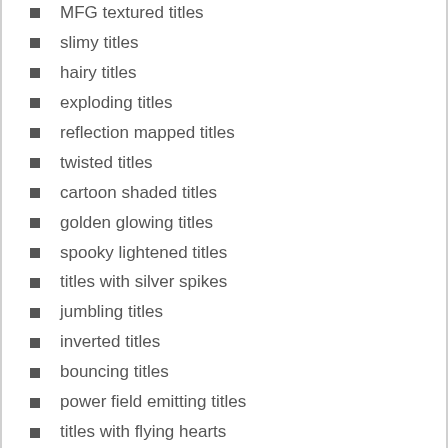MFG textured titles
slimy titles
hairy titles
exploding titles
reflection mapped titles
twisted titles
cartoon shaded titles
golden glowing titles
spooky lightened titles
titles with silver spikes
jumbling titles
inverted titles
bouncing titles
power field emitting titles
titles with flying hearts
pumping titles
plasma backgrounds